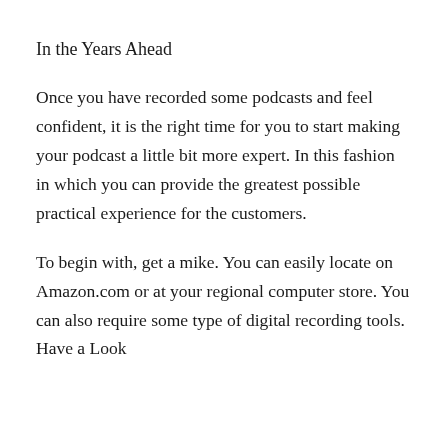In the Years Ahead
Once you have recorded some podcasts and feel confident, it is the right time for you to start making your podcast a little bit more expert. In this fashion in which you can provide the greatest possible practical experience for the customers.
To begin with, get a mike. You can easily locate on Amazon.com or at your regional computer store. You can also require some type of digital recording tools. Have a Look